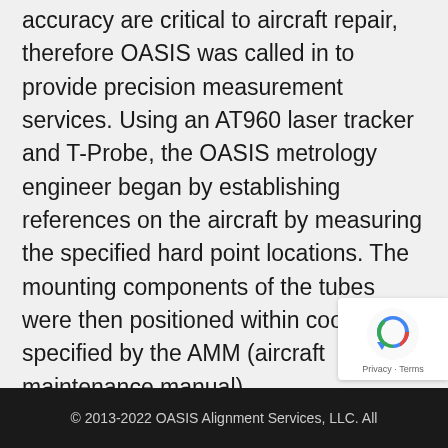accuracy are critical to aircraft repair, therefore OASIS was called in to provide precision measurement services. Using an AT960 laser tracker and T-Probe, the OASIS metrology engineer began by establishing references on the aircraft by measuring the specified hard point locations. The mounting components of the tubes were then positioned within coordinates specified by the AMM (aircraft maintenance manual).
Read more…
© 2013-2022 OASIS Alignment Services, LLC. All